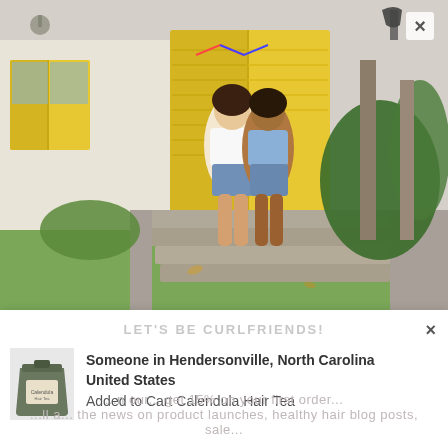[Figure (photo): Two young women standing back-to-back on stone steps in front of a building with bright yellow shutters and doors, lush greenery around them. Both wearing denim shorts, one in white top, one in blue off-shoulder top.]
×
LET'S BE CURLFRIENDS!
×
[Figure (photo): Product bag of Calendula Hair Tea]
Someone in Hendersonville, North Carolina United States
Added to Cart Calendula Hair Tea
...n our... get 15% on your first order... ll a... the news on product launches, healthy hair blog posts, sale...